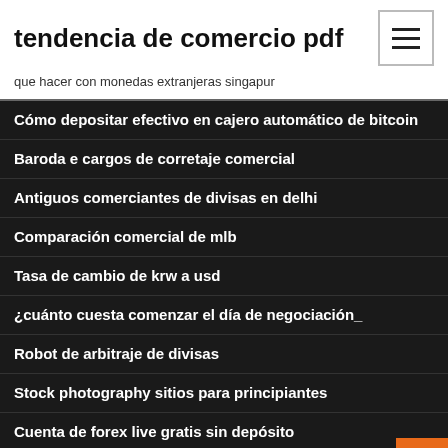tendencia de comercio pdf
que hacer con monedas extranjeras singapur
Cómo depositar efectivo en cajero automático de bitcoin
Baroda e cargos de corretaje comercial
Antiguos comerciantes de divisas en delhi
Comparación comercial de mlb
Tasa de cambio de krw a usd
¿cuánto cuesta comenzar el día de negociación_
Robot de arbitraje de divisas
Stock photography sitios para principiantes
Cuenta de forex live gratis sin depósito
Bonos municipales libres de impuestos etrade